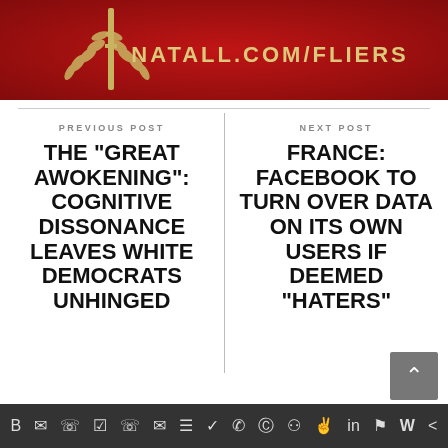[Figure (other): Red banner with gold decorative emblem/laurel on left and URL text NATALL.COM/FLIERS in gold letters]
PREVIOUS POST
THE "GREAT AWOKENING": COGNITIVE DISSONANCE LEAVES WHITE DEMOCRATS UNHINGED
NEXT POST
FRANCE: FACEBOOK TO TURN OVER DATA ON ITS OWN USERS IF DEEMED "HATERS"
Social media share icons bar